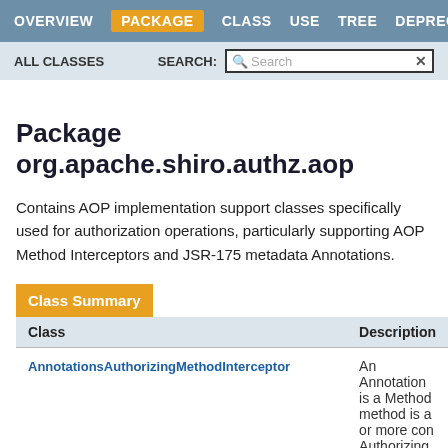OVERVIEW | PACKAGE | CLASS | USE | TREE | DEPRECATED
ALL CLASSES | SEARCH:
Package org.apache.shiro.authz.aop
Contains AOP implementation support classes specifically used for authorization operations, particularly supporting AOP Method Interceptors and JSR-175 metadata Annotations.
Class Summary
| Class | Description |
| --- | --- |
| AnnotationsAuthorizingMethodInterceptor | An Annotation is a Method method is a or more con Authorizing |